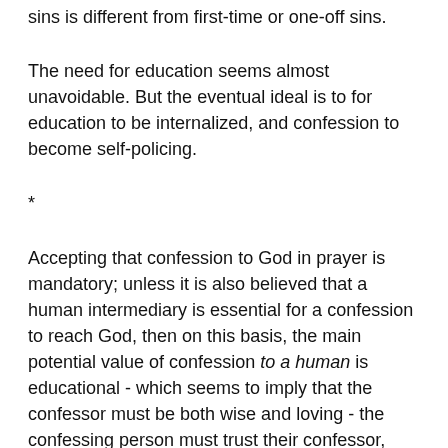sins is different from first-time or one-off sins.
The need for education seems almost unavoidable. But the eventual ideal is to for education to be internalized, and confession to become self-policing.
*
Accepting that confession to God in prayer is mandatory; unless it is also believed that a human intermediary is essential for a confession to reach God, then on this basis, the main potential value of confession to a human is educational - which seems to imply that the confessor must be both wise and loving - the confessing person must trust their confessor, must believe the confessor wiser than themselves, must believe the confessor has their interests at heart.
The endemic shortage of wise and trusted confessors who are to us asif a loving Father, is probably a major factor in the way that confession as an ideal often asserted, seems so generally to become corrupted into rote, or avoided